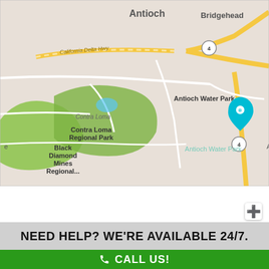[Figure (map): Google Maps view of Antioch, California area showing Antioch Water Park, Contra Loma Regional Park, Black Diamond Mines Regional Park, California Delta Hwy, and Highway 4. A teal map pin marks Antioch Water Park location.]
NEED HELP? WE'RE AVAILABLE 24/7.
CALL US!